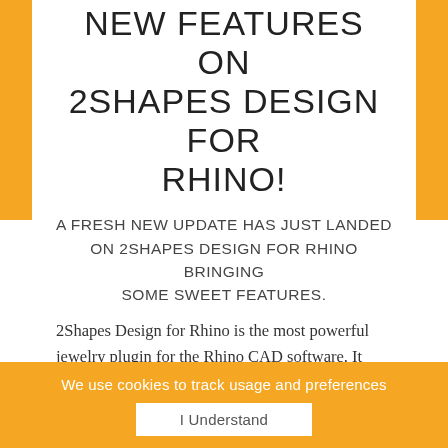NEW FEATURES ON 2SHAPES DESIGN FOR RHINO!
A FRESH NEW UPDATE HAS JUST LANDED ON 2SHAPES DESIGN FOR RHINO BRINGING SOME SWEET FEATURES.
2Shapes Design for Rhino is the most powerful jewelry plugin for the Rhino CAD software. It combines the innovative 2Shapes Design with Rhino to become the ultimate powerhouse for 3D jewelry design.
We want to highlight 2 of the new commands added
We use cookies to track usage and preferences
I Understand